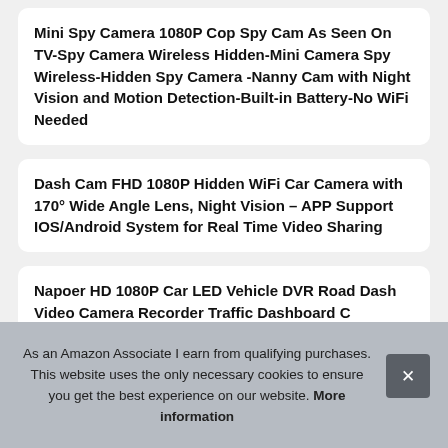Mini Spy Camera 1080P Cop Spy Cam As Seen On TV-Spy Camera Wireless Hidden-Mini Camera Spy Wireless-Hidden Spy Camera -Nanny Cam with Night Vision and Motion Detection-Built-in Battery-No WiFi Needed
Dash Cam FHD 1080P Hidden WiFi Car Camera with 170° Wide Angle Lens, Night Vision – APP Support IOS/Android System for Real Time Video Sharing
Napoer HD 1080P Car LED Vehicle DVR Road Dash Video Camera Recorder Traffic Dashboard C...
Rec
As an Amazon Associate I earn from qualifying purchases. This website uses the only necessary cookies to ensure you get the best experience on our website. More information